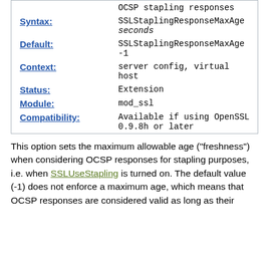|  | OCSP stapling responses |
| Syntax: | SSLStaplingResponseMaxAge seconds |
| Default: | SSLStaplingResponseMaxAge -1 |
| Context: | server config, virtual host |
| Status: | Extension |
| Module: | mod_ssl |
| Compatibility: | Available if using OpenSSL 0.9.8h or later |
This option sets the maximum allowable age ("freshness") when considering OCSP responses for stapling purposes, i.e. when SSLUseStapling is turned on. The default value (-1) does not enforce a maximum age, which means that OCSP responses are considered valid as long as their